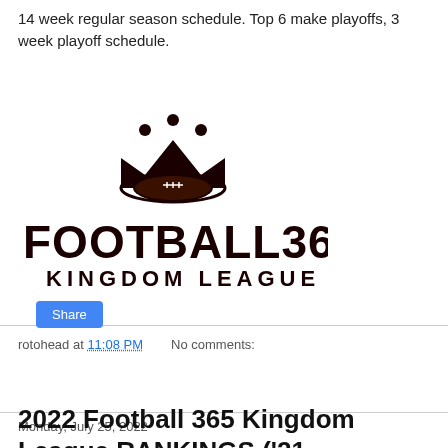14 week regular season schedule. Top 6 make playoffs, 3 week playoff schedule.
[Figure (logo): Football 365 Kingdom League logo with a crown above a football, and bold text 'FOOTBALL365' with 'KINGDOM LEAGUE' below in dark maroon/brown color.]
rotohead at 11:08 PM   No comments:
Share
Monday, July 25, 2022
2022 Football 365 Kingdom League RANKINGS ('21 Standings)